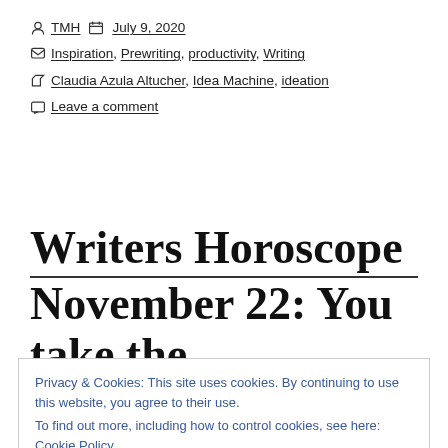TMH   July 9, 2020
Inspiration, Prewriting, productivity, Writing
Claudia Azula Altucher, Idea Machine, ideation
Leave a comment
Writers Horoscope November 22: You take the
Privacy & Cookies: This site uses cookies. By continuing to use this website, you agree to their use.
To find out more, including how to control cookies, see here: Cookie Policy
Close and accept